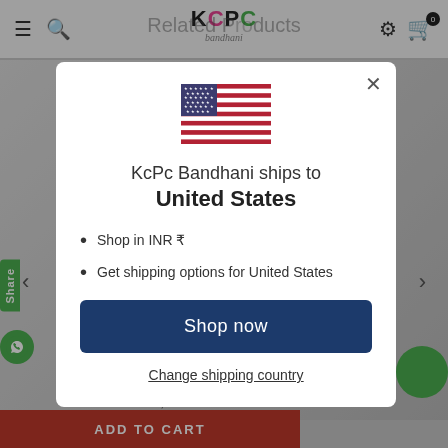Related Products — KCPC Bandhani
[Figure (screenshot): KCPC Bandhani e-commerce website screenshot showing a modal dialog with US flag, shipping information for United States, Shop now button, and Change shipping country link over a product page background.]
KcPc Bandhani ships to United States
Shop in INR ₹
Get shipping options for United States
Shop now
Change shipping country
ADD TO CART